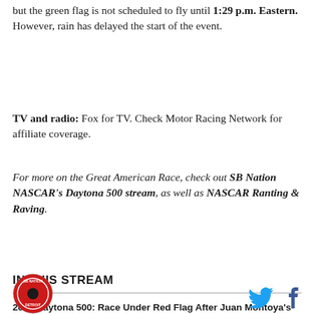but the green flag is not scheduled to fly until 1:29 p.m. Eastern. However, rain has delayed the start of the event.
TV and radio: Fox for TV. Check Motor Racing Network for affiliate coverage.
For more on the Great American Race, check out SB Nation NASCAR's Daytona 500 stream, as well as NASCAR Ranting & Raving.
IN THIS STREAM
2012 Daytona 500: Race Under Red Flag After Juan Montoya's Fiery Crash
[Figure (logo): SB Nation Detroit logo - circular red and black logo]
[Figure (logo): Twitter bird icon]
[Figure (logo): Facebook f icon]